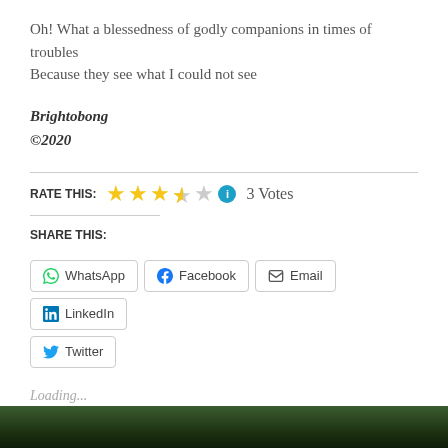Oh! What a blessedness of godly companions in times of troubles
Because they see what I could not see
Brightobong
©2020
[Figure (other): Star rating widget showing 3.5 out of 5 stars (3 filled, 1 half, 1 empty), info icon, and '3 Votes' text with RATE THIS label]
SHARE THIS:
[Figure (infographic): Share buttons row: WhatsApp, Facebook, Email, LinkedIn, Twitter]
Loading...
[Figure (photo): Dark forest/nature photo strip at bottom of page]